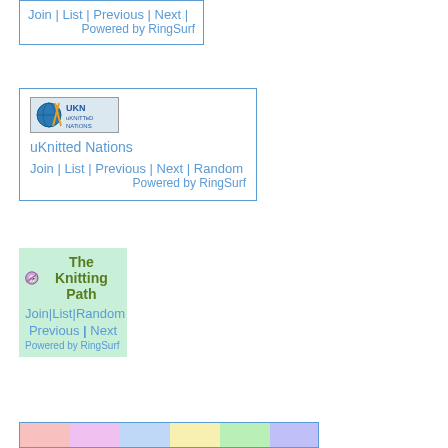Join | List | Previous | Next | Powered by RingSurf
[Figure (logo): uKNitted Nations logo with globe and knitting needles icon]
uKnitted Nations
Join | List | Previous | Next | Random | Powered by RingSurf
[Figure (logo): The Knitting Path widget with yarn/skull icon on green background]
Join|List|Random Previous | Next Powered by RingSurf
[Figure (illustration): Colorful partial image visible at bottom of page]